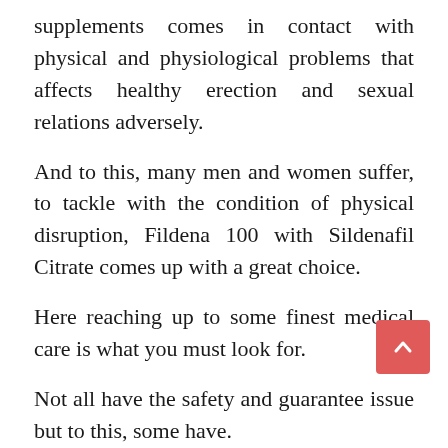supplements comes in contact with physical and physiological problems that affects healthy erection and sexual relations adversely.
And to this, many men and women suffer, to tackle with the condition of physical disruption, Fildena 100 with Sildenafil Citrate comes up with a great choice.
Here reaching up to some finest medical care is what you must look for.
Not all have the safety and guarantee issue but to this, some have.
That one genuine platform with all security and safety products comes up with all the cure for you.